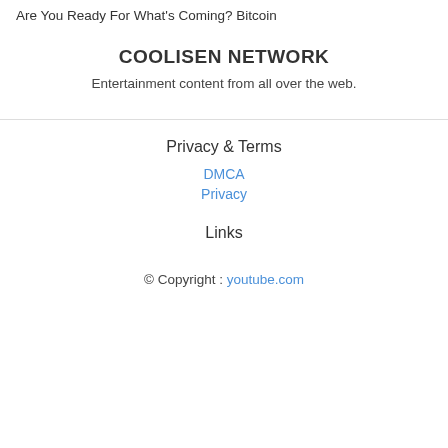Are You Ready For What's Coming? Bitcoin
COOLISEN NETWORK
Entertainment content from all over the web.
Privacy & Terms
DMCA
Privacy
Links
© Copyright : youtube.com